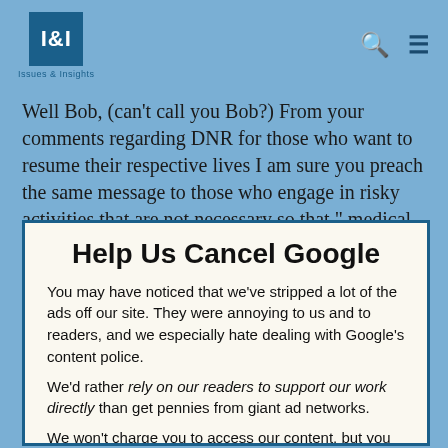I&I Issues & Insights
Well Bob, (can't call you Bob?) From your comments regarding DNR for those who want to resume their respective lives I am sure you preach the same message to those who engage in risky activities that are not necessary so that " medical staff won't waste their time treating" them. Since the "early models
Help Us Cancel Google
You may have noticed that we've stripped a lot of the ads off our site. They were annoying to us and to readers, and we especially hate dealing with Google's content police.
We'd rather rely on our readers to support our work directly than get pennies from giant ad networks.
We won't charge you to access our content, but you can help us keep this site going with a donation.